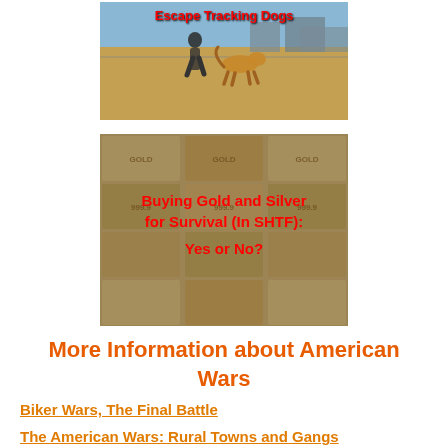[Figure (photo): Photo of a person running with a tracking dog through tall grass/field with buildings in background. Red text overlay reads 'Escape Tracking Dogs']
[Figure (photo): Photo of gold bars arranged in a grid pattern. Red bold text overlay reads 'Buying Gold and Silver for Survival (In SHTF): Yes or No?']
More Information about American Wars
Biker Wars, The Final Battle
The American Wars: Rural Towns and Gangs